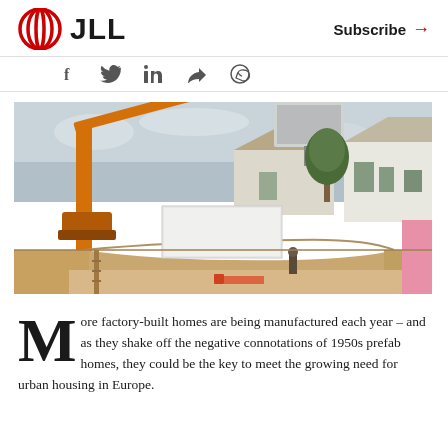JLL | Subscribe →
[Figure (photo): Construction site showing an orange crane lifting a large panel or module, with an excavated foundation pit in the foreground, a worker standing in the pit, and suburban houses and trees in the background. Overcast sky.]
More factory-built homes are being manufactured each year – and as they shake off the negative connotations of 1950s prefab homes, they could be the key to meet the growing need for urban housing in Europe.